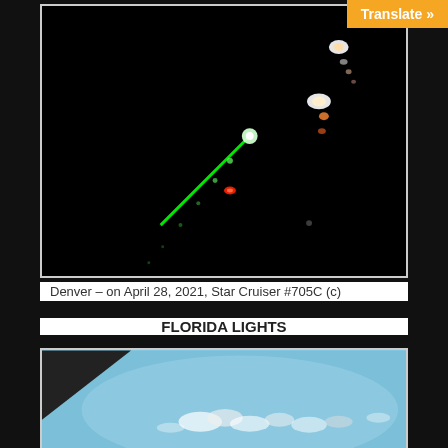[Figure (photo): Night sky photograph showing colored lights and streaks on a black background, including green laser-like streaks and orange/white lights arranged in a diagonal pattern, taken in Denver on April 28, 2021]
Denver – on April 28, 2021, Star Cruiser #705C (c)
FLORIDA LIGHTS
[Figure (photo): Aerial or satellite photograph showing blue sky/ocean with white cloud formations visible, with a dark corner in the upper left]